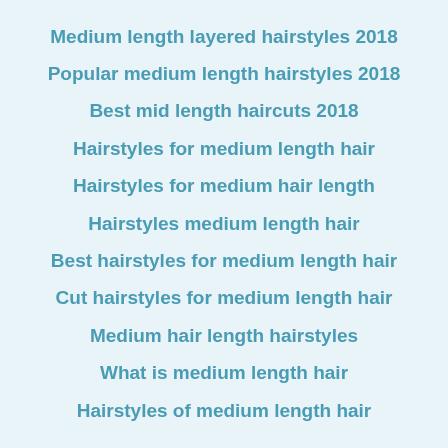Medium length layered hairstyles 2018
Popular medium length hairstyles 2018
Best mid length haircuts 2018
Hairstyles for medium length hair
Hairstyles for medium hair length
Hairstyles medium length hair
Best hairstyles for medium length hair
Cut hairstyles for medium length hair
Medium hair length hairstyles
What is medium length hair
Hairstyles of medium length hair